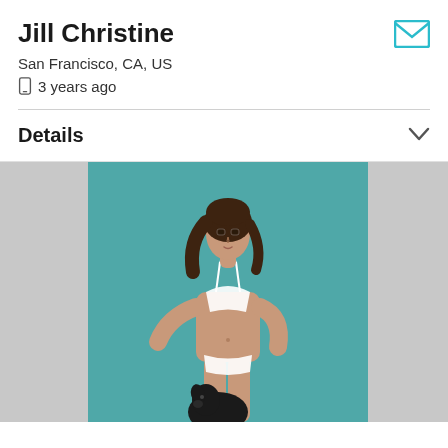Jill Christine
San Francisco, CA, US
3 years ago
Details
[Figure (photo): A woman in white lingerie posing in front of a teal background, holding a small dark dog at the bottom of the frame.]